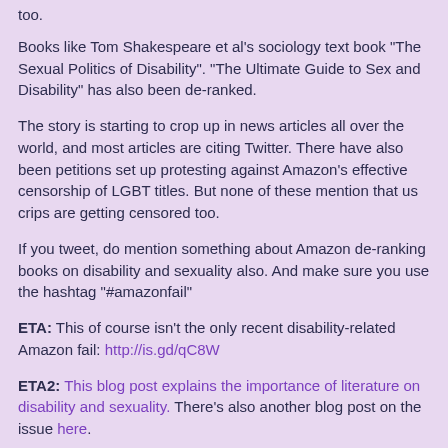too.
Books like Tom Shakespeare et al's sociology text book "The Sexual Politics of Disability". "The Ultimate Guide to Sex and Disability" has also been de-ranked.
The story is starting to crop up in news articles all over the world, and most articles are citing Twitter. There have also been petitions set up protesting against Amazon's effective censorship of LGBT titles. But none of these mention that us crips are getting censored too.
If you tweet, do mention something about Amazon de-ranking books on disability and sexuality also. And make sure you use the hashtag "#amazonfail"
ETA: This of course isn't the only recent disability-related Amazon fail: http://is.gd/qC8W
ETA2: This blog post explains the importance of literature on disability and sexuality. There's also another blog post on the issue here.